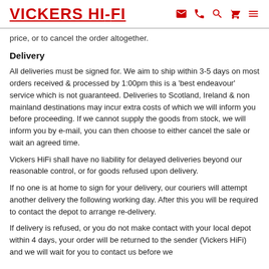VICKERS HI-FI
price, or to cancel the order altogether.
Delivery
All deliveries must be signed for. We aim to ship within 3-5 days on most orders received & processed by 1:00pm this is a 'best endeavour' service which is not guaranteed. Deliveries to Scotland, Ireland & non mainland destinations may incur extra costs of which we will inform you before proceeding. If we cannot supply the goods from stock, we will inform you by e-mail, you can then choose to either cancel the sale or wait an agreed time.
Vickers HiFi shall have no liability for delayed deliveries beyond our reasonable control, or for goods refused upon delivery.
If no one is at home to sign for your delivery, our couriers will attempt another delivery the following working day. After this you will be required to contact the depot to arrange re-delivery.
If delivery is refused, or you do not make contact with your local depot within 4 days, your order will be returned to the sender (Vickers HiFi) and we will wait for you to contact us before we